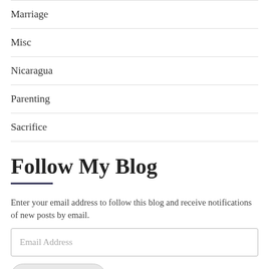Marriage
Misc
Nicaragua
Parenting
Sacrifice
Follow My Blog
Enter your email address to follow this blog and receive notifications of new posts by email.
Email Address
Follow My Blog